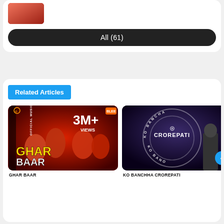[Figure (screenshot): Thumbnail strip showing partial image at top of card]
All (61)
Related Articles
[Figure (photo): Ghar Baar official music video thumbnail with 3M+ views]
[Figure (photo): Ko Banchha Crorepati show thumbnail with host in front of logo]
KO BANCHHA CROREPATI
GHAR BAAR